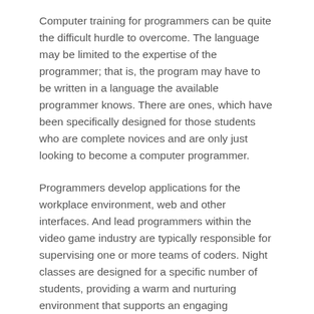Computer training for programmers can be quite the difficult hurdle to overcome. The language may be limited to the expertise of the programmer; that is, the program may have to be written in a language the available programmer knows. There are ones, which have been specifically designed for those students who are complete novices and are only just looking to become a computer programmer.
Programmers develop applications for the workplace environment, web and other interfaces. And lead programmers within the video game industry are typically responsible for supervising one or more teams of coders. Night classes are designed for a specific number of students, providing a warm and nurturing environment that supports an engaging experience.
Programmers develop it also maintaining...